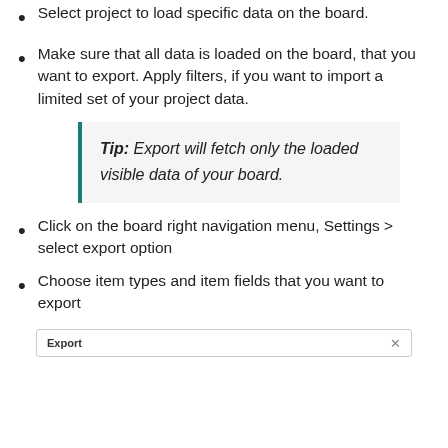Select project to load specific data on the board.
Make sure that all data is loaded on the board, that you want to export. Apply filters, if you want to import a limited set of your project data.
Tip: Export will fetch only the loaded visible data of your board.
Click on the board right navigation menu, Settings > select export option
Choose item types and item fields that you want to export
[Figure (screenshot): Export dialog box header with title 'Export' and close button (x)]